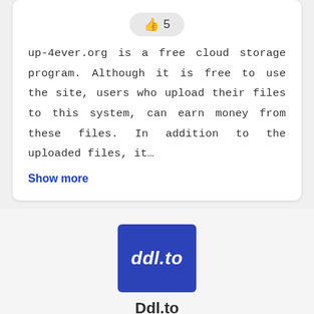[Figure (other): Thumbs up icon with the number 5 inside a rounded pill-shaped button]
up-4ever.org is a free cloud storage program. Although it is free to use the site, users who upload their files to this system, can earn money from these files. In addition to the uploaded files, it…
Show more
[Figure (logo): Blue square logo with white italic bold text reading 'ddl.to']
Ddl.to